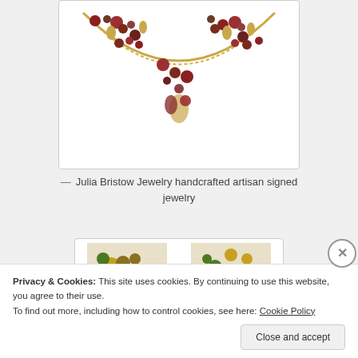[Figure (photo): A gold chain necklace with red, brown, and burgundy beads and charms hanging from it, displayed on a white background]
— Julia Bristow Jewelry handcrafted artisan signed jewelry
[Figure (photo): Two thumbnail images of jewelry pieces with green and yellow beads]
Privacy & Cookies: This site uses cookies. By continuing to use this website, you agree to their use.
To find out more, including how to control cookies, see here: Cookie Policy
Close and accept